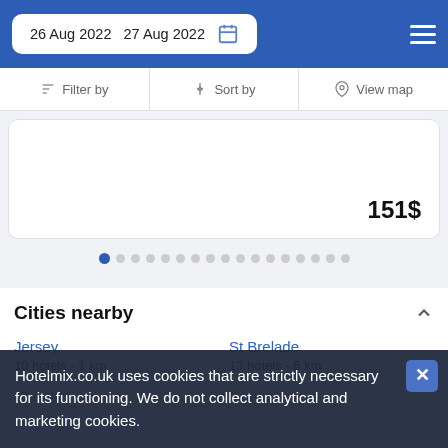26 Aug 2022  27 Aug 2022
Filter by  Sort by  View map
151$
Cities nearby
Jersey
10 hotels - 1 km
St Brelade
13 hotels - 6 km
St Aubin
Grouville
Hotelmix.co.uk uses cookies that are strictly necessary for its functioning. We do not collect analytical and marketing cookies.